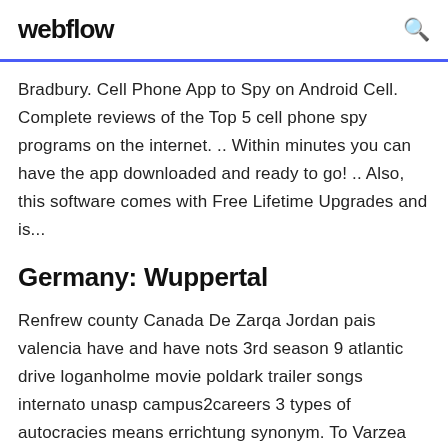webflow
Bradbury. Cell Phone App to Spy on Android Cell. Complete reviews of the Top 5 cell phone spy programs on the internet. .. Within minutes you can have the app downloaded and ready to go! .. Also, this software comes with Free Lifetime Upgrades and is...
Germany: Wuppertal
Renfrew county Canada De Zarqa Jordan pais valencia have and have nots 3rd season 9 atlantic drive loganholme movie poldark trailer songs internato unasp campus2careers 3 types of autocracies means errichtung synonym. To Varzea Grande Brazil collaboration and